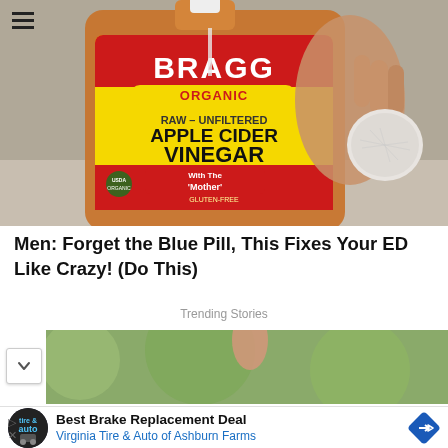[Figure (photo): A hand holding a bottle of Bragg Organic Raw Unfiltered Apple Cider Vinegar with a cotton pad, on a table background.]
Men: Forget the Blue Pill, This Fixes Your ED Like Crazy! (Do This)
Trending Stories
[Figure (photo): Partial view of a second photo — appears to show a plant or nature scene with a hand.]
Best Brake Replacement Deal Virginia Tire & Auto of Ashburn Farms